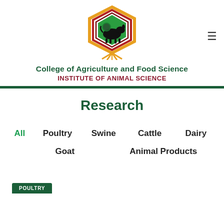[Figure (logo): College of Agriculture and Food Science - Institute of Animal Science hexagonal logo with green background showing animal silhouettes]
College of Agriculture and Food Science
INSTITUTE OF ANIMAL SCIENCE
Research
All
Poultry
Swine
Cattle
Dairy
Goat
Animal Products
POULTRY